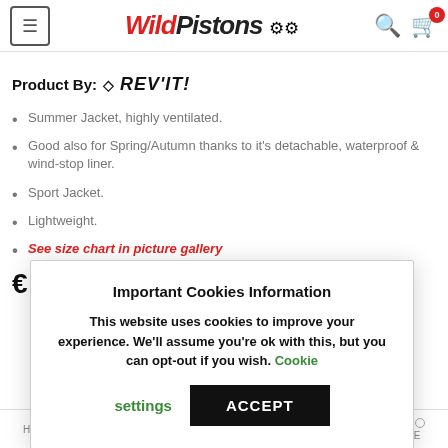Wild Pistons — site header with hamburger menu, logo, search and cart icons
Product By: REVIT!
Summer Jacket, highly ventilated.
Good also for Spring/Autumn thanks to it's detachable, waterproof & wind-stop liner.
Sport Jacket.
Lightweight.
See size chart in picture gallery
€
Important Cookies Information
This website uses cookies to improve your experience. We'll assume you're ok with this, but you can opt-out if you wish. Cookie settings   ACCEPT
HOME   SEARCH   CART   MY ACCOUNT   MORE